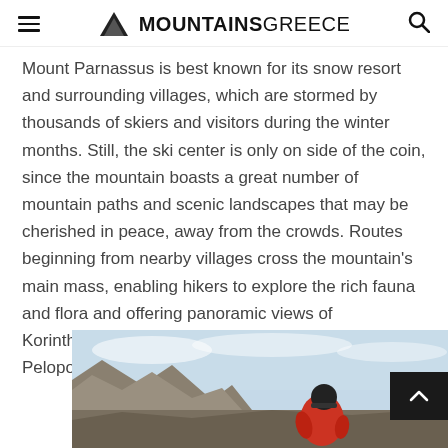MOUNTAINSGREECE
Mount Parnassus is best known for its snow resort and surrounding villages, which are stormed by thousands of skiers and visitors during the winter months. Still, the ski center is only on side of the coin, since the mountain boasts a great number of mountain paths and scenic landscapes that may be cherished in peace, away from the crowds. Routes beginning from nearby villages cross the mountain's main mass, enabling hikers to explore the rich fauna and flora and offering panoramic views of Korinthiakos bay and the northern part of the Peloponnese peninsula.
[Figure (photo): A hiker in a red jacket and black beanie sitting or crouching on rocky mountain terrain with rocky cliffs and blue sky in the background, viewed from behind/side.]